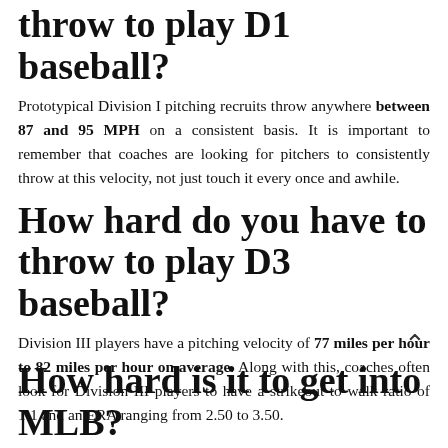throw to play D1 baseball?
Prototypical Division I pitching recruits throw anywhere between 87 and 95 MPH on a consistent basis. It is important to remember that coaches are looking for pitchers to consistently throw at this velocity, not just touch it every once and awhile.
How hard do you have to throw to play D3 baseball?
Division III players have a pitching velocity of 77 miles per hour to 82 miles per hour on average. Along with this, coaches often look for Division III players to have a strikeout to walk ratio of 1:1 and an ERA ranging from 2.50 to 3.50.
How hard is it to get into MLB?